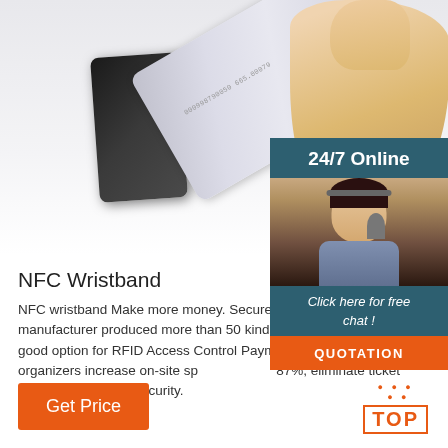[Figure (photo): Hand holding a silver RFID card being tapped on a black card reader device]
[Figure (infographic): 24/7 Online chat widget with customer service agent photo, 'Click here for free chat!' text, and orange QUOTATION button]
NFC Wristband
NFC wristband Make more money. Secure your eve manufacturer produced more than 50 kinds of RFID wristband is a good option for RFID Access Control Payment systems help organizers increase on-site spend by up to 87%, eliminate ticket fraud, and improve security.
Get Price
TOP